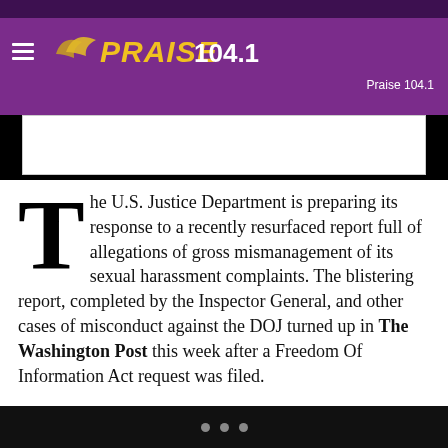PRAISE 104.1 fm — Praise 104.1
The U.S. Justice Department is preparing its response to a recently resurfaced report full of allegations of gross mismanagement of its sexual harassment complaints. The blistering report, completed by the Inspector General, and other cases of misconduct against the DOJ turned up in The Washington Post this week after a Freedom Of Information Act request was filed.
“Potential systemic” issues from fiscal years 2012 through 2016 were detailed in the Inspector General’s report released in May. Abuses by attorneys in the Civil Division and employees in U.S. Attorneys offices, the Federal Bureau of Investigation, the U.S. Marshals Service and the Bureau of Alcohol, Tobacco
• • •